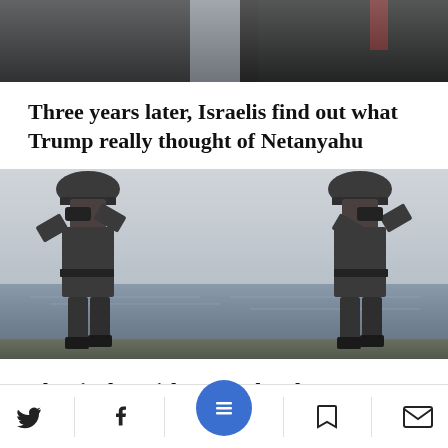[Figure (photo): Cropped photo showing two men in dark suits, partial view from chest down, appears to be politicians or leaders meeting]
Three years later, Israelis find out what Trump really thought of Netanyahu
[Figure (photo): Mirrored black and white historical photo of two WWII-era soldiers in helmets looking through binoculars, standing on either side with the sea in the background]
The rival Jewish spies who almost changed the course of WWII
Social media navigation bar with Twitter, Facebook, menu, bookmark, and email icons